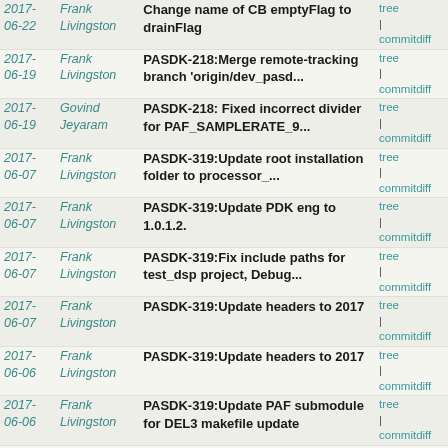| Date | Author | Commit Message | Links |
| --- | --- | --- | --- |
| 2017-
06-22 | Frank
Livingston | Change name of CB emptyFlag to drainFlag | tree | commitdiff |
| 2017-
06-19 | Frank
Livingston | PASDK-218:Merge remote-tracking branch 'origin/dev_pasd... | tree | commitdiff |
| 2017-
06-19 | Govind
Jeyaram | PASDK-218: Fixed incorrect divider for PAF_SAMPLERATE_9... | tree | commitdiff |
| 2017-
06-07 | Frank
Livingston | PASDK-319:Update root installation folder to processor_... | tree | commitdiff |
| 2017-
06-07 | Frank
Livingston | PASDK-319:Update PDK eng to 1.0.1.2. | tree | commitdiff |
| 2017-
06-07 | Frank
Livingston | PASDK-319:Fix include paths for test_dsp project, Debug... | tree | commitdiff |
| 2017-
06-07 | Frank
Livingston | PASDK-319:Update headers to 2017 | tree | commitdiff |
| 2017-
06-06 | Frank
Livingston | PASDK-319:Update headers to 2017 | tree | commitdiff |
| 2017-
06-06 | Frank
Livingston | PASDK-319:Update PAF submodule for DEL3 makefile update | tree | commitdiff |
| 2017-
06-03 | Frank
Livingston | Build #46:Disable PP CB dumps | tree | commitdiff |
| 2017-
06-03 | Frank
Livingston | PASDK-277:Increase MAT-THD nominal delay to 3504. | tree | commitdiff |
| 2017-
06-03 | Frank
Livingston | PASDK-277:Add debug variables | tree | commitdiff |
| 2017-
06-02 | Frank
Livingston | PASDK_277:Initial code for Bogdan's CB nominal delay | tree | commitdiff |
| 2017- | Chitresh | PASDK-277: Added GPIO for | tree | |